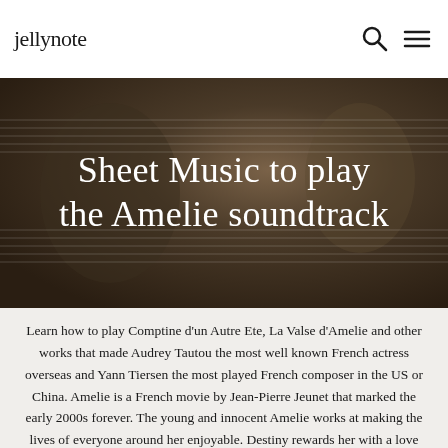jellynote
Sheet Music to play the Amelie soundtrack
Learn how to play Comptine d'un Autre Ete, La Valse d'Amelie and other works that made Audrey Tautou the most well known French actress overseas and Yann Tiersen the most played French composer in the US or China. Amelie is a French movie by Jean-Pierre Jeunet that marked the early 2000s forever. The young and innocent Amelie works at making the lives of everyone around her enjoyable. Destiny rewards her with a love story of her own, as she meets and falls in love with Nino. The plot is not that unique but the way the movie was directed, the different locations in